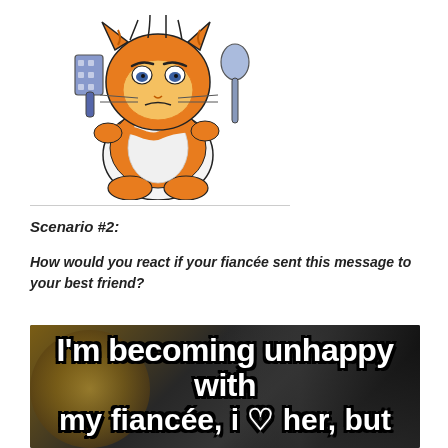[Figure (illustration): Garfield the cat dressed as a chef, wearing a white apron, holding a spatula in one hand and a spoon in the other, with a grumpy expression. There is a thin horizontal line below the image.]
Scenario #2:
How would you react if your fiancée sent this message to your best friend?
[Figure (photo): A meme image with a dark/food background showing white bold text with black outline reading: "I'm becoming unhappy with my fiancée, i ♡ her, but"]